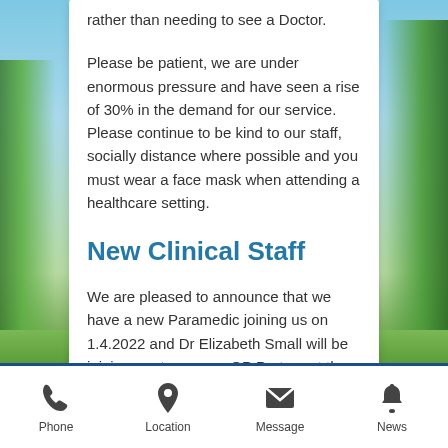rather than needing to see a Doctor.
Please be patient, we are under enormous pressure and have seen a rise of 30% in the demand for our service. Please continue to be kind to our staff, socially distance where possible and you must wear a face mask when attending a healthcare setting.
New Clinical Staff
We are pleased to announce that we have a new Paramedic joining us on 1.4.2022 and Dr Elizabeth Small will be joining our team as a GP Partner at the end of April
Phone  Location  Message  News